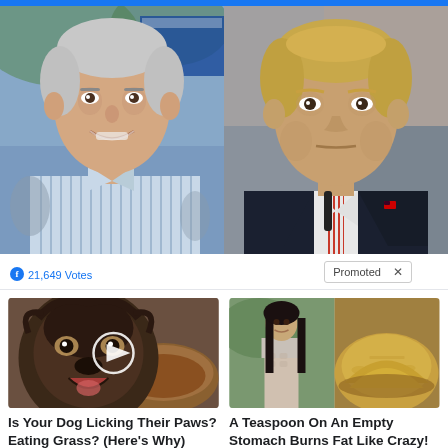[Figure (photo): Side-by-side photos of two political figures: Biden on the left (smiling, blue striped shirt, outdoor setting) and Trump on the right (serious expression, dark suit, red striped tie)]
21,649 Votes
Promoted X
[Figure (photo): Ad image of a dog licking from a bowl with a video play button overlay]
Is Your Dog Licking Their Paws? Eating Grass? (Here's Why)
🔥 3,635
[Figure (photo): Ad image showing a fit woman and a bowl of turmeric powder]
A Teaspoon On An Empty Stomach Burns Fat Like Crazy!
🔥 90,976